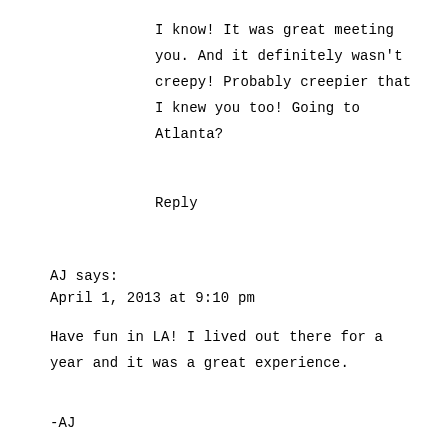I know! It was great meeting you. And it definitely wasn't creepy! Probably creepier that I knew you too! Going to Atlanta?
Reply
AJ says:
April 1, 2013 at 9:10 pm
Have fun in LA! I lived out there for a year and it was a great experience.
-AJ